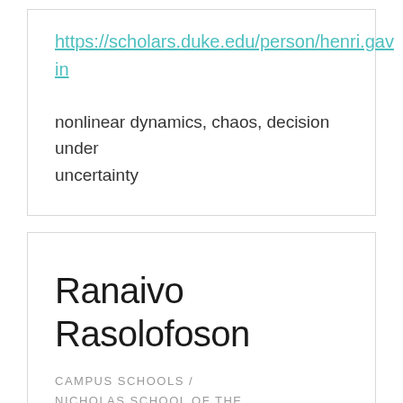https://scholars.duke.edu/person/henri.gavin
nonlinear dynamics, chaos, decision under uncertainty
Ranaivo Rasolofoson
CAMPUS SCHOOLS / NICHOLAS SCHOOL OF THE ENVIRONMENT